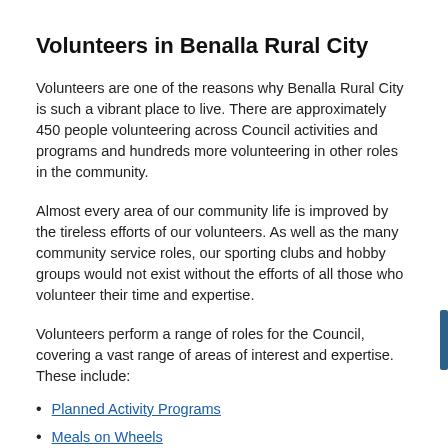Volunteers in Benalla Rural City
Volunteers are one of the reasons why Benalla Rural City is such a vibrant place to live. There are approximately 450 people volunteering across Council activities and programs and hundreds more volunteering in other roles in the community.
Almost every area of our community life is improved by the tireless efforts of our volunteers. As well as the many community service roles, our sporting clubs and hobby groups would not exist without the efforts of all those who volunteer their time and expertise.
Volunteers perform a range of roles for the Council, covering a vast range of areas of interest and expertise. These include:
Planned Activity Programs
Meals on Wheels
Transport